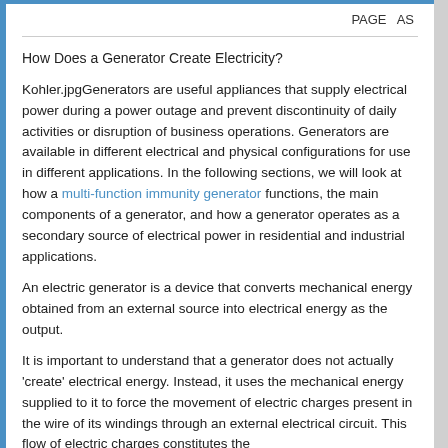PAGE AS
How Does a Generator Create Electricity?
Kohler.jpgGenerators are useful appliances that supply electrical power during a power outage and prevent discontinuity of daily activities or disruption of business operations. Generators are available in different electrical and physical configurations for use in different applications. In the following sections, we will look at how a multi-function immunity generator functions, the main components of a generator, and how a generator operates as a secondary source of electrical power in residential and industrial applications.
An electric generator is a device that converts mechanical energy obtained from an external source into electrical energy as the output.
It is important to understand that a generator does not actually ‘create’ electrical energy. Instead, it uses the mechanical energy supplied to it to force the movement of electric charges present in the wire of its windings through an external electrical circuit. This flow of electric charges constitutes the